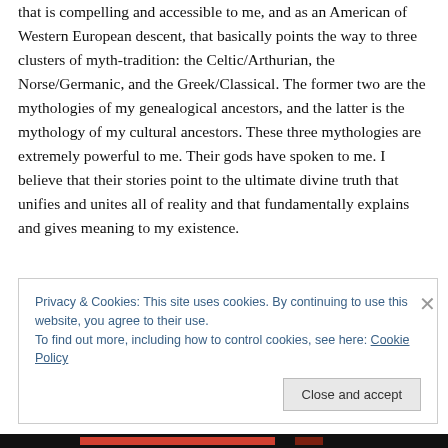that is compelling and accessible to me, and as an American of Western European descent, that basically points the way to three clusters of myth-tradition: the Celtic/Arthurian, the Norse/Germanic, and the Greek/Classical. The former two are the mythologies of my genealogical ancestors, and the latter is the mythology of my cultural ancestors. These three mythologies are extremely powerful to me. Their gods have spoken to me. I believe that their stories point to the ultimate divine truth that unifies and unites all of reality and that fundamentally explains and gives meaning to my existence.
Privacy & Cookies: This site uses cookies. By continuing to use this website, you agree to their use.
To find out more, including how to control cookies, see here: Cookie Policy